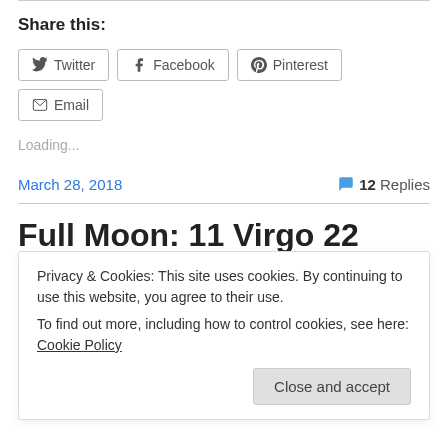Share this:
Twitter
Facebook
Pinterest
Email
Loading...
March 28, 2018    💬 12 Replies
Full Moon: 11 Virgo 22
Privacy & Cookies: This site uses cookies. By continuing to use this website, you agree to their use.
To find out more, including how to control cookies, see here: Cookie Policy
Close and accept